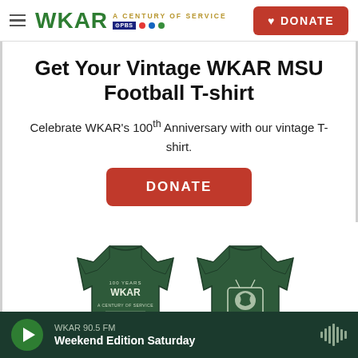WKAR A CENTURY OF SERVICE | DONATE
Get Your Vintage WKAR MSU Football T-shirt
Celebrate WKAR's 100th Anniversary with our vintage T-shirt.
[Figure (illustration): Dark green vintage WKAR MSU Football T-shirt showing back with WKAR 100 Years and Michigan State University text, and front with Spartan helmet in TV screen graphic]
WKAR 90.5 FM — Weekend Edition Saturday